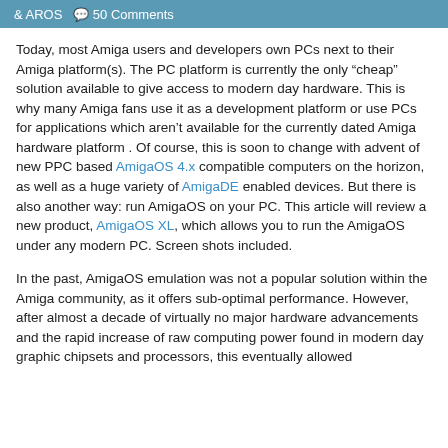& AROS  50 Comments
Today, most Amiga users and developers own PCs next to their Amiga platform(s). The PC platform is currently the only “cheap” solution available to give access to modern day hardware. This is why many Amiga fans use it as a development platform or use PCs for applications which aren’t available for the currently dated Amiga hardware platform . Of course, this is soon to change with advent of new PPC based AmigaOS 4.x compatible computers on the horizon, as well as a huge variety of AmigaDE enabled devices. But there is also another way: run AmigaOS on your PC. This article will review a new product, AmigaOS XL, which allows you to run the AmigaOS under any modern PC. Screen shots included.
In the past, AmigaOS emulation was not a popular solution within the Amiga community, as it offers sub-optimal performance. However, after almost a decade of virtually no major hardware advancements and the rapid increase of raw computing power found in modern day graphic chipsets and processors, this eventually allowed